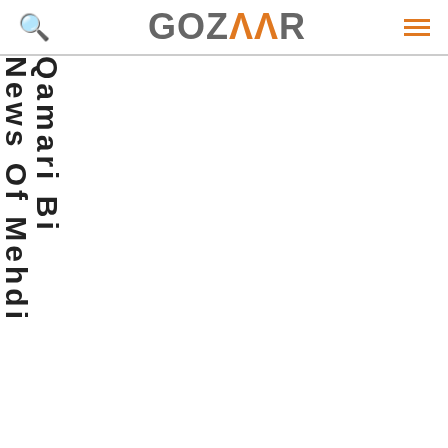GOZAAR
News Of Mehdi Qamari Bi